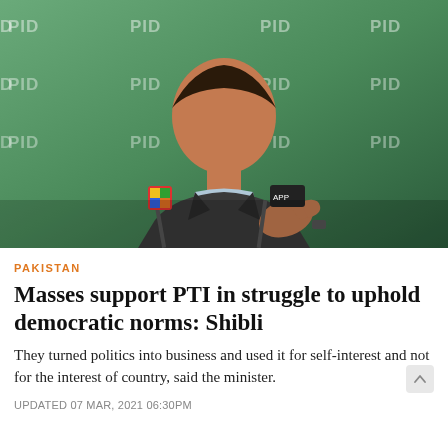[Figure (photo): A Pakistani government official (Shibli Faraz) speaking at a press conference in front of a PID (Press Information Department) branded backdrop, with microphones visible on the podium.]
PAKISTAN
Masses support PTI in struggle to uphold democratic norms: Shibli
They turned politics into business and used it for self-interest and not for the interest of country, said the minister.
UPDATED 07 MAR, 2021 06:30PM